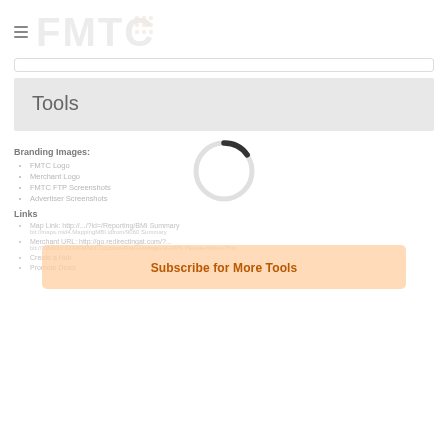FMTC
Tools
[Figure (other): Loading spinner circle, mostly white with a dark arc at the top-right indicating loading in progress]
[Figure (other): Subscribe for More Tools button overlay in a peach/orange translucent rounded rectangle]
Branding Images:
FMTC Logo
Merchant Logo
FMTC FTP Screenshots
Advertiser Screenshots
Links
Map Link: http://.../?id=/Reporting/BMI Summary
Merchant URL: http://go.redirectingat.com/?...
Create a Hub
Promote Deals